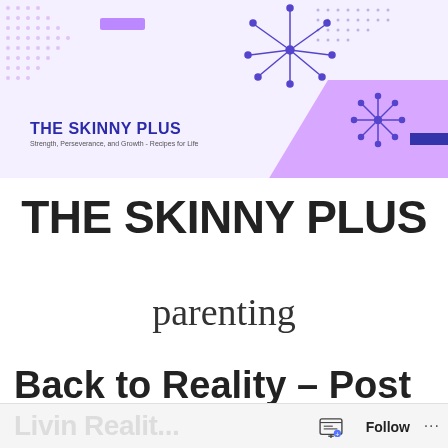[Figure (illustration): Website banner for The Skinny Plus blog with purple decorative elements, dot patterns, starburst icons, and logo]
THE SKINNY PLUS
parenting
Back to Reality – Post
Follow